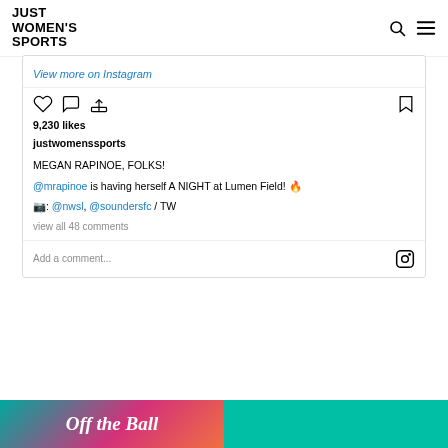JUST WOMEN'S SPORTS
View more on Instagram
9,230 likes
justwomenssports
MEGAN RAPINOE, FOLKS!
@mrapinoe is having herself A NIGHT at Lumen Field! 🔥
📷: @nwsl, @soundersfc / TW
view all 48 comments
Add a comment...
[Figure (photo): Bottom banner with Off the Ball script text on gradient background (teal to pink to orange)]